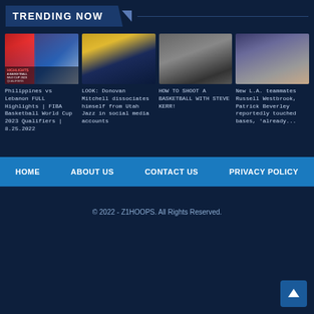TRENDING NOW
[Figure (photo): Philippines vs Lebanon basketball highlight thumbnail showing players in action with flag graphics]
Philippines vs Lebanon FULL Highlights | FIBA Basketball World Cup 2023 Qualifiers | 8.25.2022
[Figure (photo): Donovan Mitchell basketball player photo]
LOOK: Donovan Mitchell dissociates himself from Utah Jazz in social media accounts
[Figure (photo): Basketball shooting tutorial image, dark gym background]
HOW TO SHOOT A BASKETBALL WITH STEVE KERR!
[Figure (photo): LA teammates Russell Westbrook and Patrick Beverley in game action]
New L.A. teammates Russell Westbrook, Patrick Beverley reportedly touched bases, 'already...
HOME    ABOUT US    CONTACT US    PRIVACY POLICY
© 2022 - Z1HOOPS. All Rights Reserved.